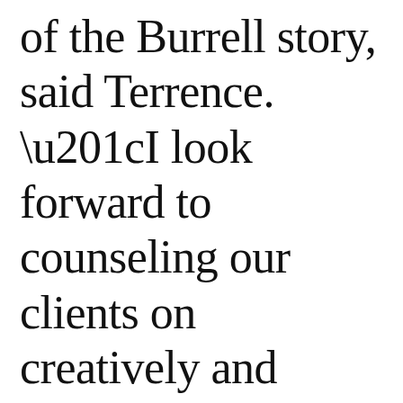of the Burrell story, said Terrence. “I look forward to counseling our clients on creatively and authentically connecting with Black consumers in today’s